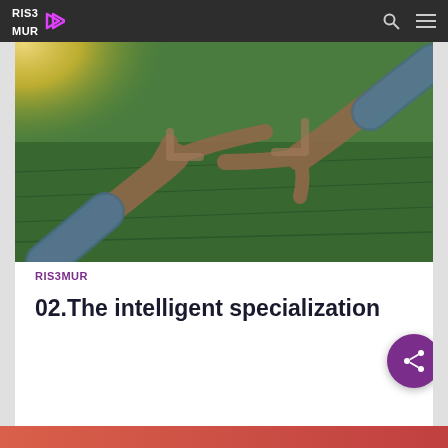RIS3MUR
[Figure (photo): Hands forming a frame/viewfinder shape over a green agricultural field with warm sunlight in the background]
RIS3MUR
02.The intelligent specialization